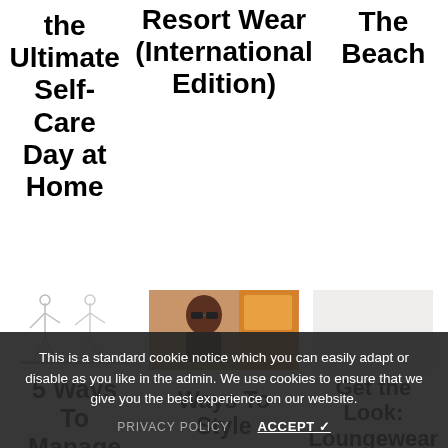the Ultimate Self-Care Day at Home
Resort Wear (International Edition)
The Beach
[Figure (illustration): Partial illustration with line drawings of figures]
[Figure (photo): Photo of a person wearing sunglasses with colorful background]
[Figure (other): Partial right image placeholder (light/empty)]
5 Ways To Manage Stress
Ways To Style
Get the Look: Loungewear
This is a standard cookie notice which you can easily adapt or disable as you like in the admin. We use cookies to ensure that we give you the best experience on our website.
PRIVACY POLICY
ACCEPT ✓